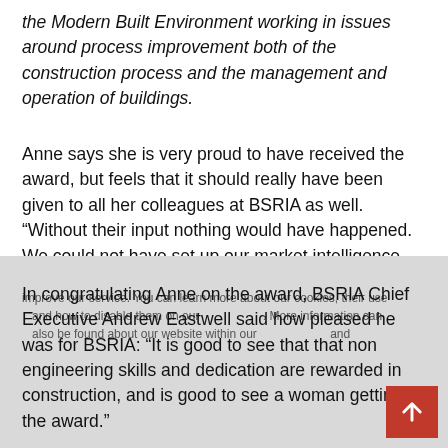the Modern Built Environment working in issues around process improvement both of the construction process and the management and operation of buildings.
Anne says she is very proud to have received the award, but feels that it should really have been given to all her colleagues at BSRIA as well. “Without their input nothing would have happened. We could not have set up our market intelligence business, kept our member services and publications relevant to the industry or promoted best practice so widely.”
In congratulating Anne on the award, BSRIA Chief Executive Andrew Eastwell said how pleased he was for BSRIA: “It is good to see that that non engineering skills and dedication are rewarded in construction, and is good to see a woman getting the award.”